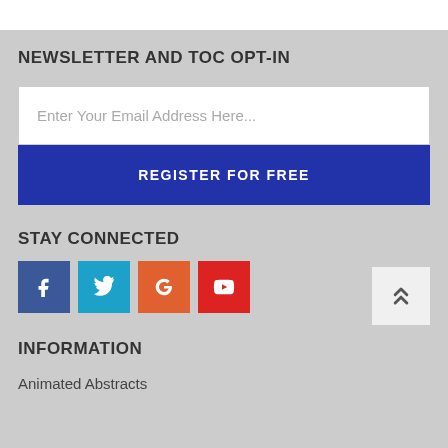NEWSLETTER AND TOC OPT-IN
Enter Your Email Address Here...
REGISTER FOR FREE
STAY CONNECTED
[Figure (infographic): Social media icons: Facebook (blue), Twitter (cyan), Google+ (orange), YouTube (red), and a scroll-to-top button (light gray with up chevrons)]
INFORMATION
Animated Abstracts